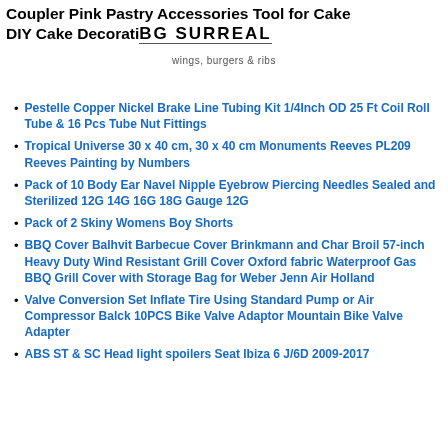Coupler Pink Pastry Accessories Tool for Cake DIY Cake Decorating Supplies
[Figure (logo): BG SURREAL logo with tagline 'wings, burgers & ribs']
Pestelle Copper Nickel Brake Line Tubing Kit 1/4Inch OD 25 Ft Coil Roll Tube & 16 Pcs Tube Nut Fittings
Tropical Universe 30 x 40 cm, 30 x 40 cm Monuments Reeves PL209 Reeves Painting by Numbers
Pack of 10 Body Ear Navel Nipple Eyebrow Piercing Needles Sealed and Sterilized 12G 14G 16G 18G Gauge 12G
Pack of 2 Skiny Womens Boy Shorts
BBQ Cover Balhvit Barbecue Cover Brinkmann and Char Broil 57-inch Heavy Duty Wind Resistant Grill Cover Oxford fabric Waterproof Gas BBQ Grill Cover with Storage Bag for Weber Jenn Air Holland
Valve Conversion Set Inflate Tire Using Standard Pump or Air Compressor Balck 10PCS Bike Valve Adaptor Mountain Bike Valve Adapter
ABS ST & SC Head light spoilers Seat Ibiza 6 J/6D 2009-2017